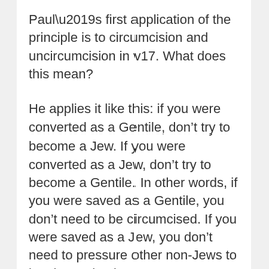Paul’s first application of the principle is to circumcision and uncircumcision in v17. What does this mean?
He applies it like this: if you were converted as a Gentile, don’t try to become a Jew. If you were converted as a Jew, don’t try to become a Gentile. In other words, if you were saved as a Gentile, you don’t need to be circumcised. If you were saved as a Jew, you don’t need to pressure other non-Jews to be circumcised.
What kind of implications does this have on our notion of culture? Culture is such a big part of who we are. For many, it is the chief